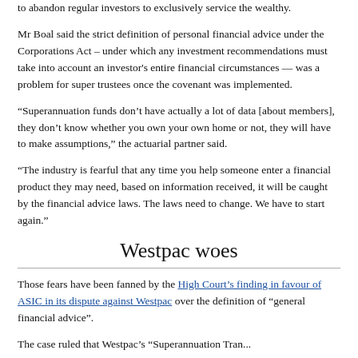to abandon regular investors to exclusively service the wealthy.
Mr Boal said the strict definition of personal financial advice under the Corporations Act – under which any investment recommendations must take into account an investor's entire financial circumstances — was a problem for super trustees once the covenant was implemented.
“Superannuation funds don’t have actually a lot of data [about members], they don’t know whether you own your own home or not, they will have to make assumptions,” the actuarial partner said.
“The industry is fearful that any time you help someone enter a financial product they may need, based on information received, it will be caught by the financial advice laws. The laws need to change. We have to start again.”
Westpac woes
Those fears have been fanned by the High Court’s finding in favour of ASIC in its dispute against Westpac over the definition of “general financial advice”.
The case ruled that Westpac’s “Superannuation Tran...” [continues below]